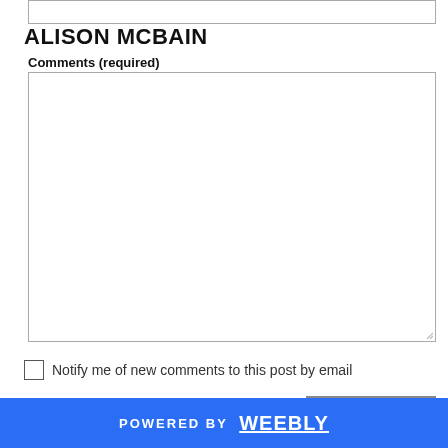ALISON MCBAIN
Comments (required)
[Figure (other): Empty comments text area input box with resize handle]
Notify me of new comments to this post by email
SUBMIT
POWERED BY weebly